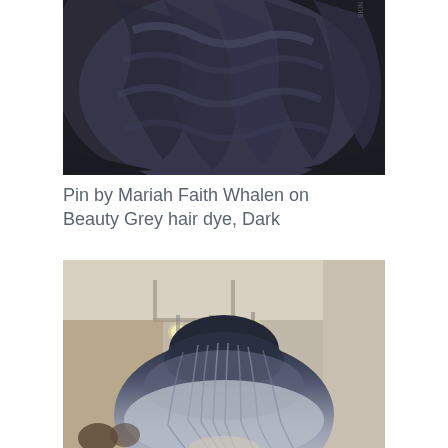[Figure (photo): Close-up photograph of dark grey/charcoal wavy hair from above, showing curled dark hair strands against a black background]
Pin by Mariah Faith Whalen on Beauty Grey hair dye, Dark
[Figure (photo): Photograph of the back of a person's head showing grey ombre hair, dark at the roots transitioning to silver/white at the ends, taken in a salon or cafe setting with exposed ceiling pipes and pendant lights visible]